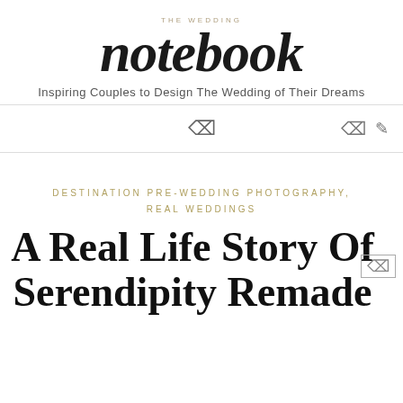THE WEDDING notebook — Inspiring Couples to Design The Wedding of Their Dreams
A Real Life Story Of Serendipity Remade
DESTINATION PRE-WEDDING PHOTOGRAPHY, REAL WEDDINGS